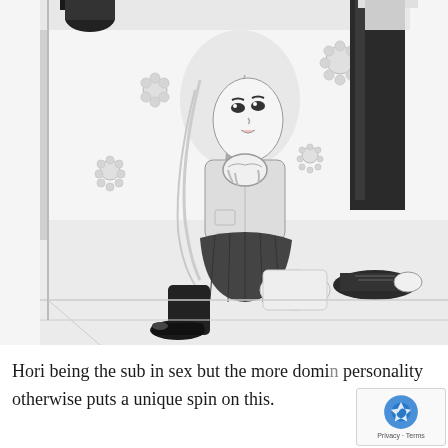[Figure (illustration): Black and white manga illustration showing a girl with long light hair kneeling on the floor looking upward with clasped hands, wearing a school uniform with knee-high socks. Floral decorations in the background. A taller figure stands nearby, only legs and feet visible, wearing dark pants and sneakers.]
Hori being the sub in sex but the more dominant personality otherwise puts a unique spin on this.